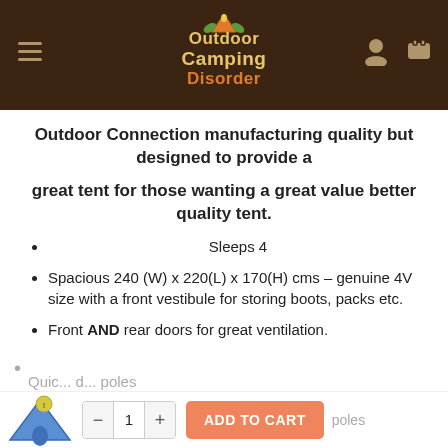[Figure (logo): Outdoor Camping Disorder logo on dark brown header bar with hamburger menu icon on left and user/cart icons on right]
Outdoor Connection manufacturing quality but designed to provide a
great tent for those wanting a great value better quality tent.
Sleeps 4
Spacious 240 (W) x 220(L) x 170(H) cms – genuine 4V size with a front vestibule for storing boots, packs etc.
Front AND rear doors for great ventilation.
Quick … poles